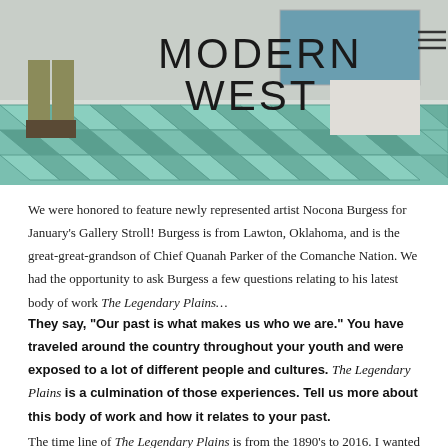[Figure (photo): Header image showing a gallery/art space with herringbone-patterned floor in teal/green tones, person's legs visible, with 'MODERN WEST' title text overlay and hamburger menu icon]
We were honored to feature newly represented artist Nocona Burgess for January's Gallery Stroll! Burgess is from Lawton, Oklahoma, and is the great-great-grandson of Chief Quanah Parker of the Comanche Nation. We had the opportunity to ask Burgess a few questions relating to his latest body of work The Legendary Plains…
They say, "Our past is what makes us who we are." You have traveled around the country throughout your youth and were exposed to a lot of different people and cultures. The Legendary Plains is a culmination of those experiences. Tell us more about this body of work and how it relates to your past.
The time line of The Legendary Plains is from the 1890's to 2016. I wanted to